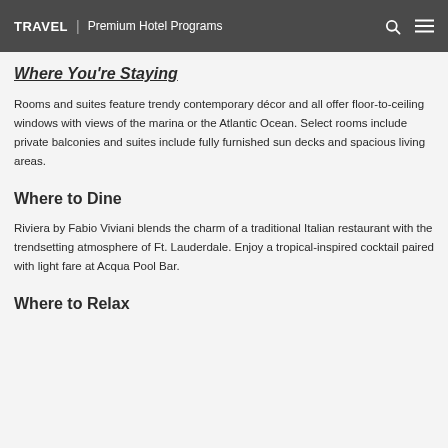TRAVEL | Premium Hotel Programs
Where You're Staying
Rooms and suites feature trendy contemporary décor and all offer floor-to-ceiling windows with views of the marina or the Atlantic Ocean. Select rooms include private balconies and suites include fully furnished sun decks and spacious living areas.
Where to Dine
Riviera by Fabio Viviani blends the charm of a traditional Italian restaurant with the trendsetting atmosphere of Ft. Lauderdale. Enjoy a tropical-inspired cocktail paired with light fare at Acqua Pool Bar.
Where to Relax